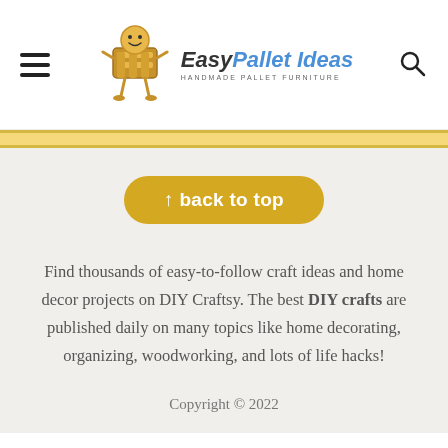Easy Pallet Ideas — HANDMADE PALLET FURNITURE
[Figure (logo): Easy Pallet Ideas logo with a cartoon pallet character and the text 'EasyPallet Ideas HANDMADE PALLET FURNITURE']
↑ back to top
Find thousands of easy-to-follow craft ideas and home decor projects on DIY Craftsy. The best DIY crafts are published daily on many topics like home decorating, organizing, woodworking, and lots of life hacks!
Copyright © 2022